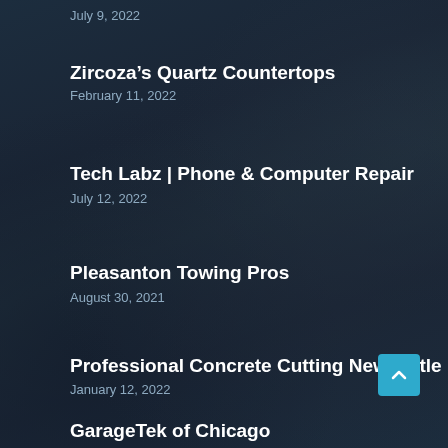July 9, 2022
Zircoza’s Quartz Countertops
February 11, 2022
Tech Labz | Phone & Computer Repair
July 12, 2022
Pleasanton Towing Pros
August 30, 2021
Professional Concrete Cutting Newcastle
January 12, 2022
GarageTek of Chicago
February 28, 2022